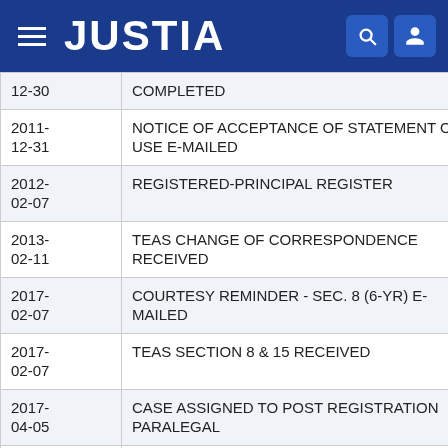JUSTIA
| Date | Event |
| --- | --- |
| 12-30 | COMPLETED |
| 2011-12-31 | NOTICE OF ACCEPTANCE OF STATEMENT OF USE E-MAILED |
| 2012-02-07 | REGISTERED-PRINCIPAL REGISTER |
| 2013-02-11 | TEAS CHANGE OF CORRESPONDENCE RECEIVED |
| 2017-02-07 | COURTESY REMINDER - SEC. 8 (6-YR) E-MAILED |
| 2017-02-07 | TEAS SECTION 8 & 15 RECEIVED |
| 2017-04-05 | CASE ASSIGNED TO POST REGISTRATION PARALEGAL |
| 2017-04-06 | REGISTERED - SEC. 8 (6-YR) ACCEPTED & SEC. 15 ACK |